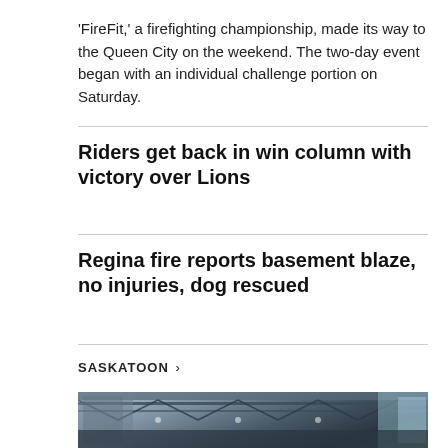'FireFit,' a firefighting championship, made its way to the Queen City on the weekend. The two-day event began with an individual challenge portion on Saturday.
Riders get back in win column with victory over Lions
Regina fire reports basement blaze, no injuries, dog rescued
SASKATOON >
[Figure (photo): Outdoor stage structure with metal truss framework photographed from below at an angle, overcast sky visible in background, colorful backdrop or screen at right edge.]